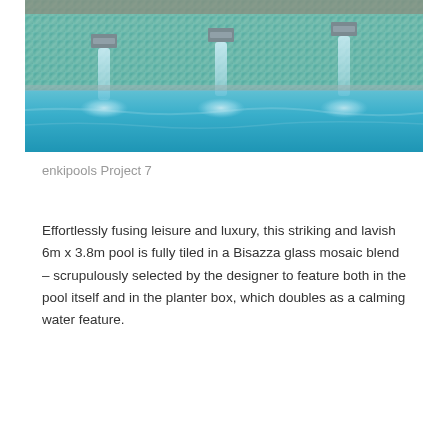[Figure (photo): Photograph of a luxury swimming pool with three waterfall spouts mounted on a Bisazza glass mosaic tile wall, water cascading into a bright blue illuminated pool below.]
enkipools Project 7
Effortlessly fusing leisure and luxury, this striking and lavish 6m x 3.8m pool is fully tiled in a Bisazza glass mosaic blend – scrupulously selected by the designer to feature both in the pool itself and in the planter box, which doubles as a calming water feature.